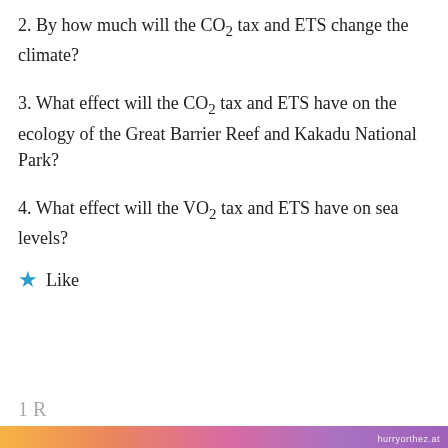2. By how much will the CO2 tax and ETS change the climate?
3. What effect will the CO2 tax and ETS have on the ecology of the Great Barrier Reef and Kakadu National Park?
4. What effect will the VO2 tax and ETS have on sea levels?
★ Like
Privacy & Cookies: This site uses cookies. By continuing to use this website, you agree to their use.
To find out more, including how to control cookies, see here: Cookie Policy